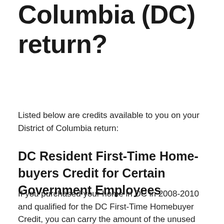Columbia (DC) return?
Listed below are credits available to you on your District of Columbia return:
DC Resident First-Time Home-buyers Credit for Certain Government Employees
If you purchased your home in DC in 2008-2010 and qualified for the DC First-Time Homebuyer Credit, you can carry the amount of the unused credit forward until it is used up.